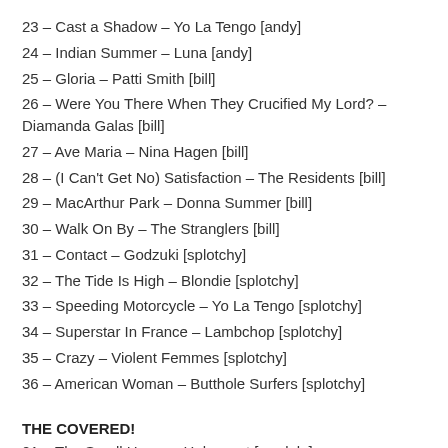23 – Cast a Shadow – Yo La Tengo [andy]
24 – Indian Summer – Luna [andy]
25 – Gloria – Patti Smith [bill]
26 – Were You There When They Crucified My Lord? – Diamanda Galas [bill]
27 – Ave Maria – Nina Hagen [bill]
28 – (I Can't Get No) Satisfaction – The Residents [bill]
29 – MacArthur Park – Donna Summer [bill]
30 – Walk On By – The Stranglers [bill]
31 – Contact – Godzuki [splotchy]
32 – The Tide Is High – Blondie [splotchy]
33 – Speeding Motorcycle – Yo La Tengo [splotchy]
34 – Superstar In France – Lambchop [splotchy]
35 – Crazy – Violent Femmes [splotchy]
36 – American Woman – Butthole Surfers [splotchy]
THE COVERED!
01 – The Small Hours – Holocaust [randalg]
02 – Sweet Jane – Velvet Underground [randalg]